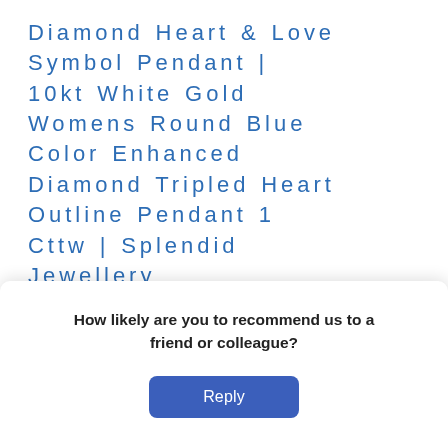Diamond Heart & Love Symbol Pendant | 10kt White Gold Womens Round Blue Color Enhanced Diamond Tripled Heart Outline Pendant 1 Cttw | Splendid Jewellery
Return it for free within 30 days Learn more
Free express shipping to your location. Your order will arrive within 1-5 business
How likely are you to recommend us to a friend or colleague?
Reply